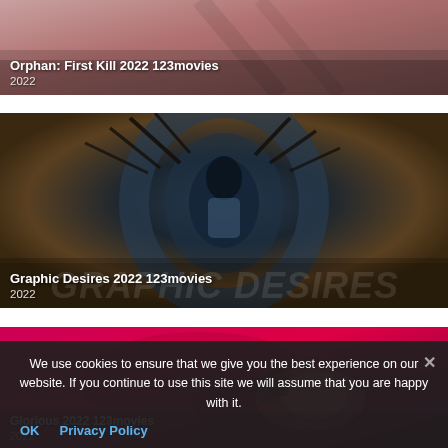[Figure (screenshot): Movie thumbnail for Orphan: First Kill 2022 with pinkish-rose toned background]
Orphan: First Kill 2022 123movies
2022
[Figure (screenshot): Movie thumbnail for Graphic Desires 2022, dark cinematic image with person in tunnel or eye-like circular structure]
Graphic Desires 2022 123movies
2022
[Figure (screenshot): Movie thumbnail for Glorious 2022, deep red/magenta toned cinematic still]
Glorious 2022 123movies
2022
We use cookies to ensure that we give you the best experience on our website. If you continue to use this site we will assume that you are happy with it.
OK
Privacy Policy